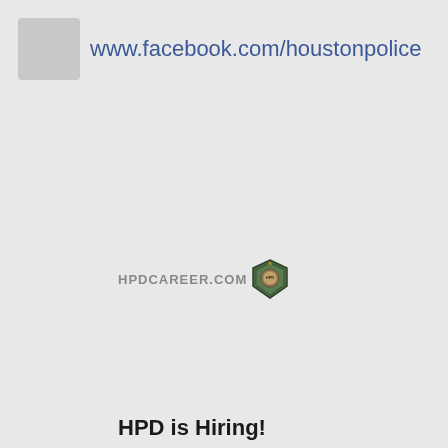[Figure (logo): Facebook logo placeholder (grey square) followed by Facebook URL link: www.facebook.com/houstonpolice in blue text]
[Figure (logo): HPDCAREER.COM text logo with Houston Police Department shield badge icon]
HPD is Hiring!
[Figure (logo): Keep Houston SAFE logo with HPD badge on the left and 'Keep Houston SAFE' text on the right, white background]